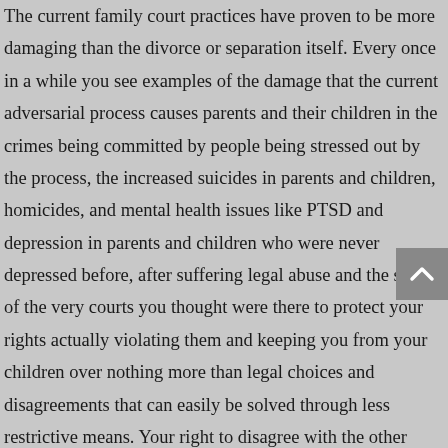The current family court practices have proven to be more damaging than the divorce or separation itself. Every once in a while you see examples of the damage that the current adversarial process causes parents and their children in the crimes being committed by people being stressed out by the process, the increased suicides in parents and children, homicides, and mental health issues like PTSD and depression in parents and children who were never depressed before, after suffering legal abuse and the shock of the very courts you thought were there to protect your rights actually violating them and keeping you from your children over nothing more than legal choices and disagreements that can easily be solved through less restrictive means. Your right to disagree with the other parent regarding childcare beliefs and values is an absolute right of conscience, your right to communicate these beliefs and values through speech with your spouse or ex-spouse is constitutionally protected free speech, even when you are arguing.
It should be easier now to get to that next and final stage of integrating the constitutional protections that will give these bills the teeth needed to enforce the rights you and your child are entitled to.